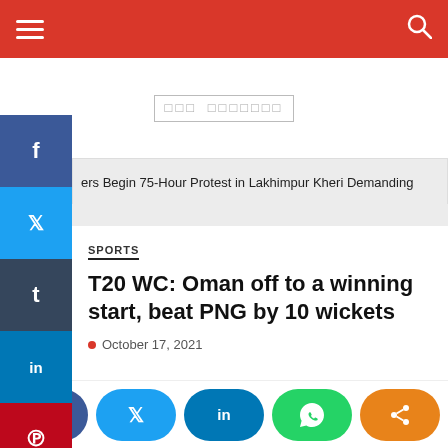Navigation bar with hamburger menu and search icon
[Figure (other): Placeholder/ad area with unrendered text in gray box]
ers Begin 75-Hour Protest in Lakhimpur Kheri Demanding
SPORTS
T20 WC: Oman off to a winning start, beat PNG by 10 wickets
October 17, 2021
[Figure (photo): Partial bottom photo of cricket related image]
Social share bar with Facebook, Twitter, LinkedIn, WhatsApp, Share buttons